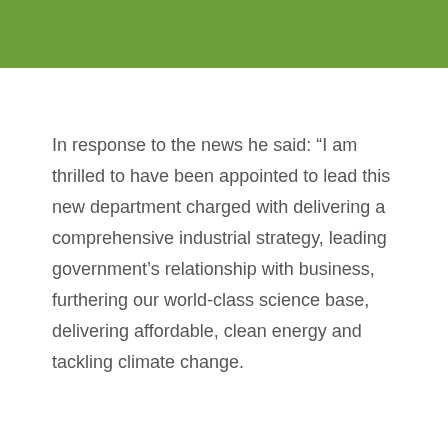[Figure (other): Green banner/header bar at top of page]
In response to the news he said: “I am thrilled to have been appointed to lead this new department charged with delivering a comprehensive industrial strategy, leading government’s relationship with business, furthering our world-class science base, delivering affordable, clean energy and tackling climate change.